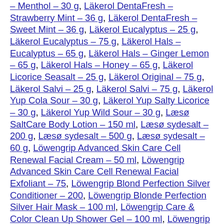– Menthol – 30 g, Läkerol DentaFresh – Strawberry Mint – 36 g, Läkerol DentaFresh – Sweet Mint – 36 g, Läkerol Eucalyptus – 25 g, Läkerol Eucalyptus – 75 g, Läkerol Hals – Eucalyptus – 65 g, Läkerol Hals – Ginger Lemon – 65 g, Läkerol Hals – Honey – 65 g, Läkerol Licorice Seasalt – 25 g, Läkerol Original – 75 g, Läkerol Salvi – 25 g, Läkerol Salvi – 75 g, Läkerol Yup Cola Sour – 30 g, Läkerol Yup Salty Licorice – 30 g, Läkerol Yup Wild Sour – 30 g, Læsø SaltCare Body Lotion – 150 ml, Læsø sydesalt – 200 g, Læsø sydesalt – 500 g, Læsø sydesalt – 60 g, Löwengrip Advanced Skin Care Cell Renewal Facial Cream – 50 ml, Löwengrip Advanced Skin Care Cell Renewal Facial Exfoliant – 75, Löwengrip Blond Perfection Silver Conditioner – 200, Löwengrip Blonde Perfection Silver Hair Mask – 100 ml, Löwengrip Care & Color Clean Up Shower Gel – 100 ml, Löwengrip Count On Me Deodorant – 50 ml, Löwengrip Durable Dust Hairspray – 250 ml, Löwengrip Feel My Heel Foot Balm – 75 ml, Löwengrip Get A Grip Hand Balm – 50 ml, Löwengrip Good To Go Dry Shampoo (caramel & cream) – 100 ml, Löwengrip Good To Go Dry Shampoo (Jasmine & Amber) – 250 ml, Löwengrip Good To Go Light Dry Shampoo For Brown Hair – 250 ml, Löwengrip Healthy Glow Deodorant – 50 ml, Löwengrip Instant Glow Facial Mist – 100 ml, Löwengrip Long Lasting Condtitioner – 200 ml, Löwengrip Luminous Bronze Self-Tan Drops – 30 ml, Löwengrip Purify My Skin Facial Scrub – 75 ml, Löwengrip Style To Define Cream...